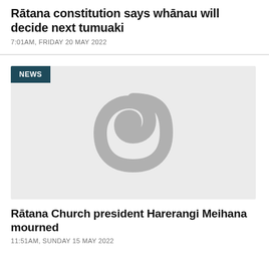Rātana constitution says whānau will decide next tumuaki
7:01AM, FRIDAY 20 MAY 2022
[Figure (illustration): Placeholder image with a grey Māori koru spiral symbol on a light grey background, with a dark teal NEWS badge in the top left corner.]
Rātana Church president Harerangi Meihana mourned
11:51AM, SUNDAY 15 MAY 2022